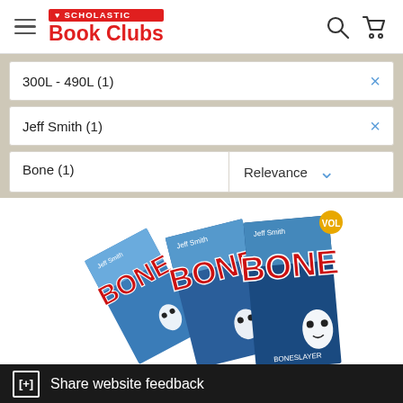SCHOLASTIC Book Clubs
300L - 490L (1)
Jeff Smith (1)
Bone (1)
Relevance
[Figure (illustration): Stack of Bone graphic novel book covers by Jeff Smith, showing multiple volumes fanned out with the red BONE logo visible on each cover]
[+] Share website feedback